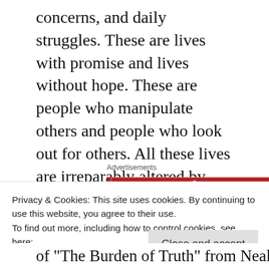concerns, and daily struggles. These are lives with promise and lives without hope. These are people who manipulate others and people who look out for others. All these lives are irreparably altered by circumstances beyond their control.
[Figure (other): Longreads advertisement banner — red background with logo and tagline: The best stories on the web – ours, and everyone else's.]
Privacy & Cookies: This site uses cookies. By continuing to use this website, you agree to their use.
To find out more, including how to control cookies, see here:
Cookie Policy
of "The Burden of Truth" from Neal Griffin